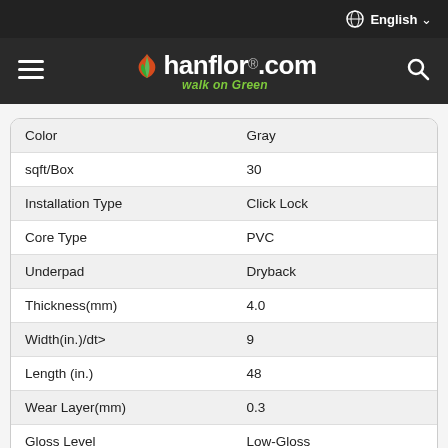English
[Figure (logo): hanflor.com walk on Green logo with orange and green leaf icons on dark background]
| Property | Value |
| --- | --- |
| Color | Gray |
| sqft/Box | 30 |
| Installation Type | Click Lock |
| Core Type | PVC |
| Underpad | Dryback |
| Thickness(mm) | 4.0 |
| Width(in.)/dt> | 9 |
| Length (in.) | 48 |
| Wear Layer(mm) | 0.3 |
| Gloss Level | Low-Gloss |
| Texture Detail | EIR |
| Edge Type | Micro-beveled |